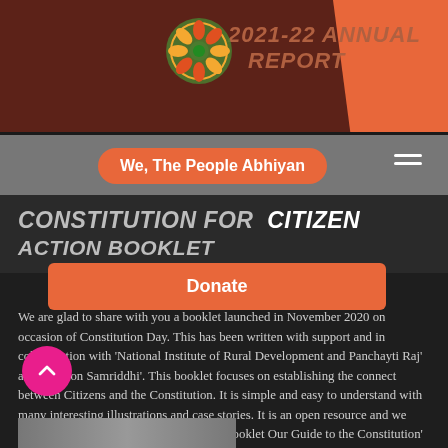2021-22 ANNUAL REPORT
We, The People Abhiyan
CONSTITUTION FOR CITIZEN ACTION BOOKLET
Donate
We are glad to share with you a booklet launched in November 2020 on occasion of Constitution Day. This has been written with support and in collaboration with 'National Institute of Rural Development and Panchayti Raj' and 'Mission Samriddhi'. This booklet focuses on establishing the connect between Citizens and the Constitution. It is simple and easy to understand with many interesting illustrations and case stories. It is an open resource and we encourage its wider dissemination. The 'Booklet Our Guide to the Constitution' is available here.